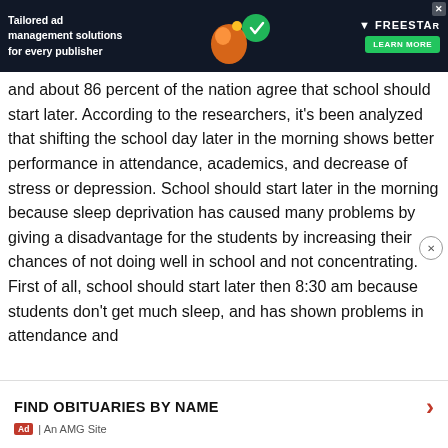[Figure (other): Advertisement banner: Tailored ad management solutions for every publisher — FreestarAdvertising, Learn More button]
and about 86 percent of the nation agree that school should start later. According to the researchers, it's been analyzed that shifting the school day later in the morning shows better performance in attendance, academics, and decrease of stress or depression. School should start later in the morning because sleep deprivation has caused many problems by giving a disadvantage for the students by increasing their chances of not doing well in school and not concentrating. First of all, school should start later then 8:30 am because students don't get much sleep, and has shown problems in attendance and
[Figure (other): Ad footer: FIND OBITUARIES BY NAME — An AMG Site advertisement]